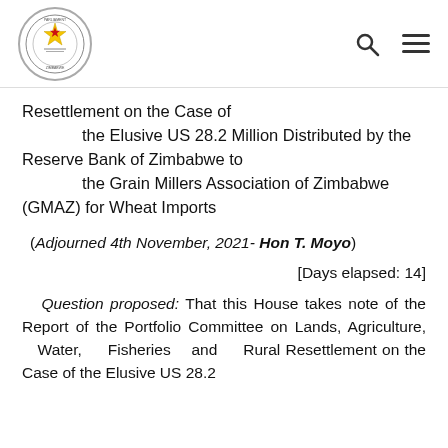Parliament of Zimbabwe
Resettlement on the Case of the Elusive US 28.2 Million Distributed by the Reserve Bank of Zimbabwe to the Grain Millers Association of Zimbabwe (GMAZ) for Wheat Imports
(Adjourned 4th November, 2021- Hon T. Moyo)
[Days elapsed: 14]
Question proposed: That this House takes note of the Report of the Portfolio Committee on Lands, Agriculture, Water, Fisheries and Rural Resettlement on the Case of the Elusive US 28.2